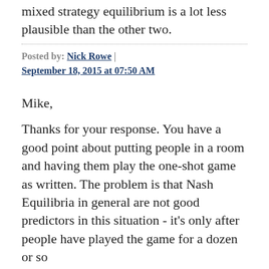mixed strategy equilibrium is a lot less plausible than the other two.
Posted by: Nick Rowe | September 18, 2015 at 07:50 AM
Mike,
Thanks for your response. You have a good point about putting people in a room and having them play the one-shot game as written. The problem is that Nash Equilibria in general are not good predictors in this situation - it's only after people have played the game for a dozen or so